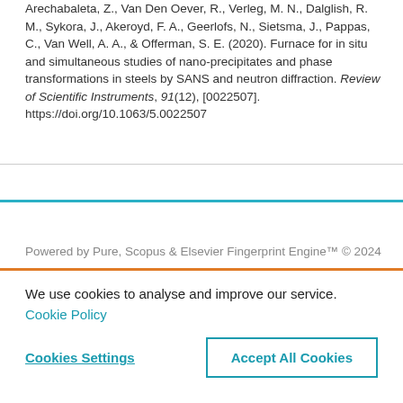Arechabaleta, Z., Van Den Oever, R., Verleg, M. N., Dalglish, R. M., Sykora, J., Akeroyd, F. A., Geerlofs, N., Sietsma, J., Pappas, C., Van Well, A. A., & Offerman, S. E. (2020). Furnace for in situ and simultaneous studies of nano-precipitates and phase transformations in steels by SANS and neutron diffraction. Review of Scientific Instruments, 91(12), [0022507]. https://doi.org/10.1063/5.0022507
We use cookies to analyse and improve our service. Cookie Policy
Cookies Settings
Accept All Cookies